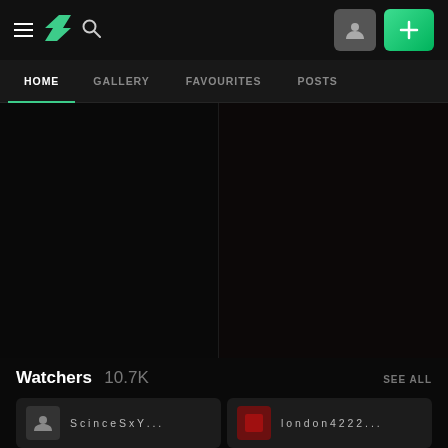DeviantArt navigation bar with hamburger menu, logo, search icon, profile button, and add button
HOME | GALLERY | FAVOURITES | POSTS
[Figure (screenshot): Two dark content image panels side by side, mostly black]
Watchers 10.7K  SEE ALL
[Figure (screenshot): Two watcher cards at the bottom, one with grey avatar and one with red themed avatar]